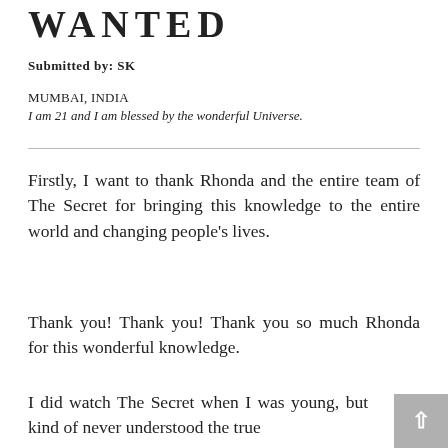WANTED
Submitted by: SK
MUMBAI, INDIA
I am 21 and I am blessed by the wonderful Universe.
Firstly, I want to thank Rhonda and the entire team of The Secret for bringing this knowledge to the entire world and changing people's lives.
Thank you! Thank you! Thank you so much Rhonda for this wonderful knowledge.
I did watch The Secret when I was young, but kind of never understood the true